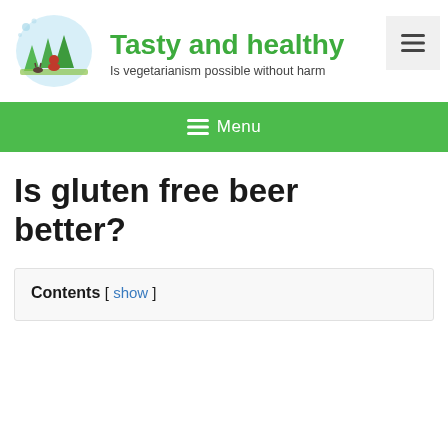[Figure (logo): Illustrated logo: a person in red sitting in a nature scene with trees and a deer, with a light blue circular background]
Tasty and healthy
Is vegetarianism possible without harm
[Figure (illustration): Hamburger menu icon (three horizontal lines) inside a light gray square button]
≡ Menu
Is gluten free beer better?
Contents [ show ]